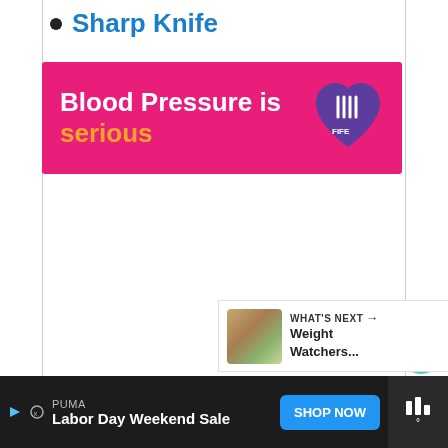Sharp Knife
[Figure (infographic): Pink banner advertisement: 'Blood Pressure is serious' with an orange/purple heart logo on the right]
[Figure (infographic): Floating action buttons: teal heart like button, count '2', and share button]
[Figure (infographic): What's Next panel with food thumbnail and text 'Weight Watchers...']
[Figure (infographic): Bottom advertisement bar: PUMA Labor Day Weekend Sale with Shop Now button]